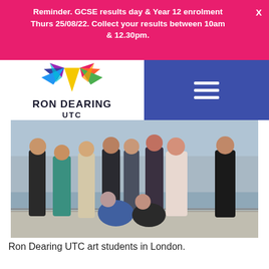Reminder. GCSE results day & Year 12 enrolment Thurs 25/08/22. Collect your results between 10am & 12.30pm.
[Figure (logo): Ron Dearing UTC logo with colourful feather/wing design and text RON DEARING UTC]
[Figure (photo): Group of Ron Dearing UTC art students posing outdoors by the Thames river in London, with a bridge visible in the background.]
Ron Dearing UTC art students in London.